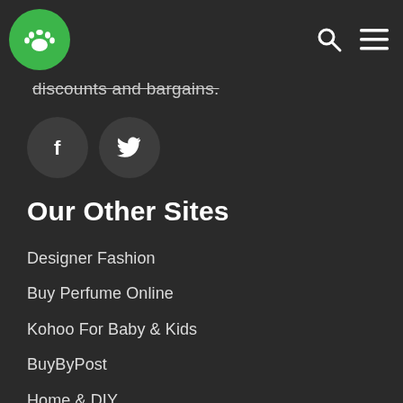[Figure (logo): Green circle with white paw print logo in top left header]
discounts and bargains.
[Figure (other): Facebook and Twitter social media icon buttons (dark circular buttons)]
Our Other Sites
Designer Fashion
Buy Perfume Online
Kohoo For Baby & Kids
BuyByPost
Home & DIY
Toys 2 Buy
Sport Brands
Kontinium - Gifts & Gadgets
Aloe Vera 2 U
Buy Pants Online
Prestashan Home Electricals